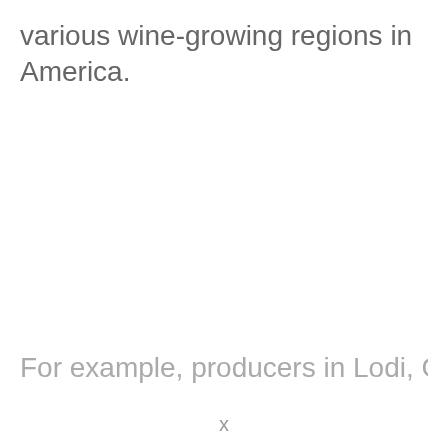various wine-growing regions in America.
For example, producers in Lodi, California, and
x